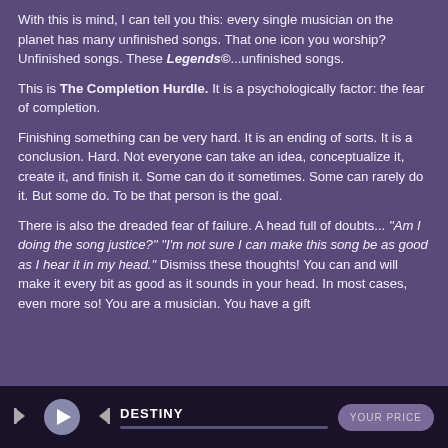With this is mind, I can tell you this: every single musician on the planet has many unfinished songs. That one icon you worship? Unfinished songs. These Legends©...unfinished songs.
This is The Completion Hurdle. It is a psychologically factor: the fear of completion.
Finishing something can be very hard. It is an ending of sorts. It is a conclusion. Hard. Not everyone can take an idea, conceptualize it, create it, and finish it. Some can do it sometimes. Some can rarely do it. But some do. To be that person is the goal.
There is also the dreaded fear of failure. A head full of doubts... "Am I doing the song justice?" "I'm not sure I can make this song be as good as I hear it in my head." Dismiss these thoughts! You can and will make it every bit as good as it sounds in your head. In most cases, even more so! You are a musician. You have a gift
DESTINY   YOUR PRICE